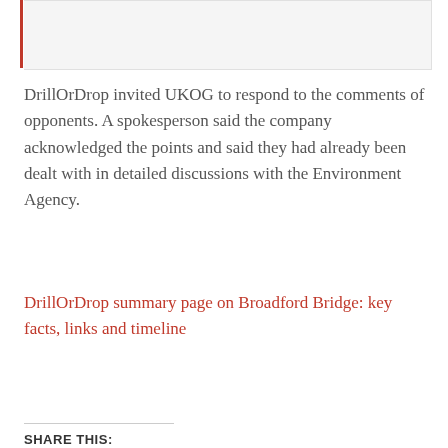DrillOrDrop invited UKOG to respond to the comments of opponents. A spokesperson said the company acknowledged the points and said they had already been dealt with in detailed discussions with the Environment Agency.
DrillOrDrop summary page on Broadford Bridge: key facts, links and timeline
SHARE THIS:
Facebook  Twitter  LinkedIn  Email
Loading...